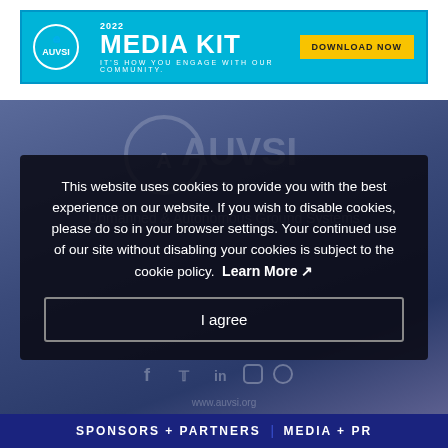[Figure (screenshot): AUVSI 2022 Media Kit banner advertisement with cyan/blue background, AUVSI logo on left, '2022 MEDIA KIT' title, subtitle 'IT'S HOW YOU ENGAGE WITH OUR COMMUNITY.' and yellow 'DOWNLOAD NOW' button on right]
[Figure (screenshot): Website screenshot showing AUVSI website background with blue/purple gradient and faint AUVSI logo watermark]
This website uses cookies to provide you with the best experience on our website. If you wish to disable cookies, please do so in your browser settings. Your continued use of our site without disabling your cookies is subject to the cookie policy. Learn More
I agree
SPONSORS + PARTNERS | MEDIA + PR